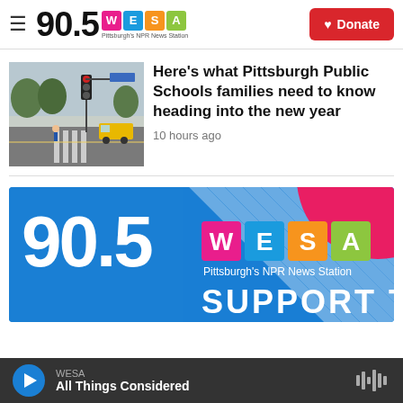90.5 WESA Pittsburgh's NPR News Station | Donate
[Figure (photo): Street intersection photo showing traffic light, crosswalk, and school bus in Pittsburgh]
Here's what Pittsburgh Public Schools families need to know heading into the new year
10 hours ago
[Figure (illustration): 90.5 WESA Pittsburgh's NPR News Station banner ad with 'SUPPORT THE' text and blue background with diagonal stripes and pink circle]
WESA All Things Considered